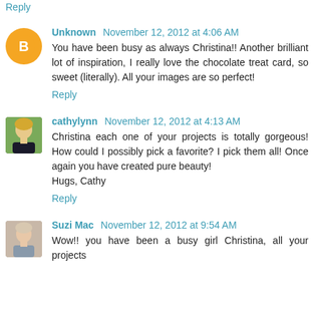Reply
Unknown November 12, 2012 at 4:06 AM
You have been busy as always Christina!! Another brilliant lot of inspiration, I really love the chocolate treat card, so sweet (literally). All your images are so perfect!
Reply
cathylynn November 12, 2012 at 4:13 AM
Christina each one of your projects is totally gorgeous! How could I possibly pick a favorite? I pick them all! Once again you have created pure beauty!
Hugs, Cathy
Reply
Suzi Mac November 12, 2012 at 9:54 AM
Wow!! you have been a busy girl Christina, all your projects